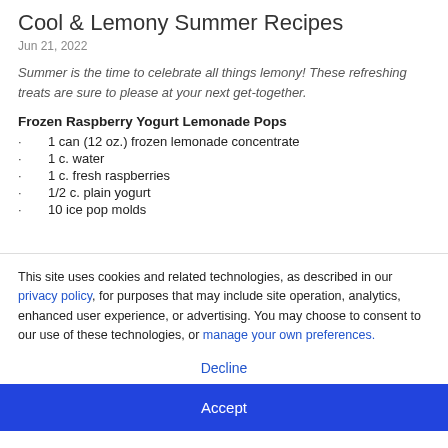Cool & Lemony Summer Recipes
Jun 21, 2022
Summer is the time to celebrate all things lemony! These refreshing treats are sure to please at your next get-together.
Frozen Raspberry Yogurt Lemonade Pops
1 can (12 oz.) frozen lemonade concentrate
1 c. water
1 c. fresh raspberries
1/2 c. plain yogurt
10 ice pop molds
This site uses cookies and related technologies, as described in our privacy policy, for purposes that may include site operation, analytics, enhanced user experience, or advertising. You may choose to consent to our use of these technologies, or manage your own preferences.
Decline
Accept